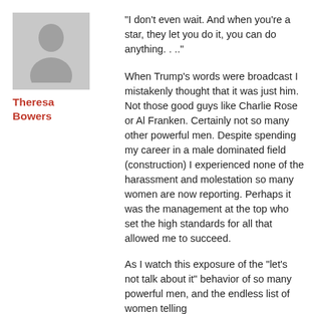[Figure (illustration): Gray placeholder avatar icon of a person silhouette]
Theresa Bowers
“I don’t even wait. And when you’re a star, they let you do it, you can do anything. . ..”
When Trump’s words were broadcast I mistakenly thought that it was just him. Not those good guys like Charlie Rose or Al Franken. Certainly not so many other powerful men. Despite spending my career in a male dominated field (construction) I experienced none of the harassment and molestation so many women are now reporting. Perhaps it was the management at the top who set the high standards for all that allowed me to succeed.
As I watch this exposure of the “let’s not talk about it” behavior of so many powerful men, and the endless list of women telling